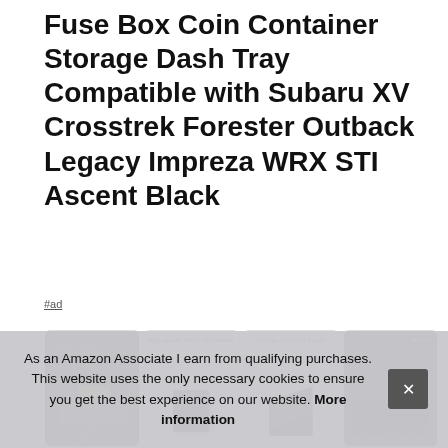Fuse Box Coin Container Storage Dash Tray Compatible with Subaru XV Crosstrek Forester Outback Legacy Impreza WRX STI Ascent Black
#ad
[Figure (photo): Four product images: 1) Car interior showing the fuse box tray installed with money/coins; 2) Black ABS plastic tray on white background labeled 'High quality black ABS plastic'; 3) Tray with lid open labeled 'Enlarge Available Space'; 4) Car interior with tray installed, labeled 'OEM FIT']
JKC... inst... fuse... subaru xv/crosstrek/ 2012 2022 Subaru Impreza gj, gp series,
As an Amazon Associate I earn from qualifying purchases. This website uses the only necessary cookies to ensure you get the best experience on our website. More information